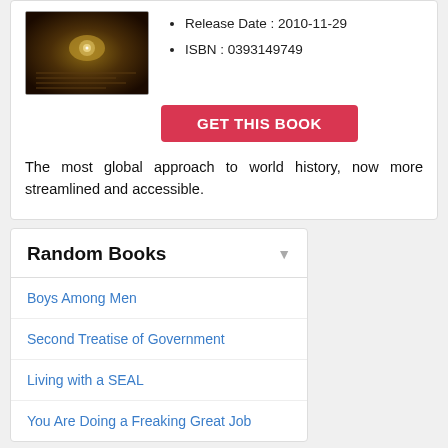[Figure (photo): Book cover image with dark background featuring an eye-like golden object]
Release Date : 2010-11-29
ISBN : 0393149749
GET THIS BOOK
The most global approach to world history, now more streamlined and accessible.
Random Books
Boys Among Men
Second Treatise of Government
Living with a SEAL
You Are Doing a Freaking Great Job